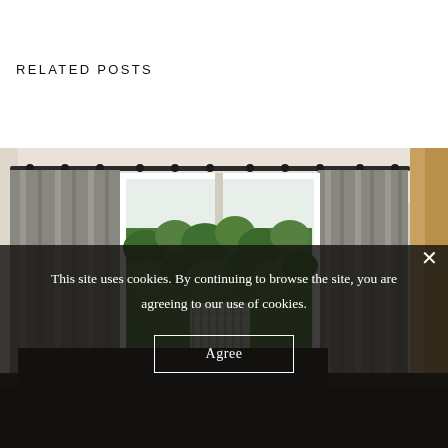RELATED POSTS
[Figure (photo): Interior room with large windows, grey floor-length curtains on a black rod, green hedge visible outside, dark furniture in foreground, warm wood panel on right edge]
This site uses cookies. By continuing to browse the site, you are agreeing to our use of cookies.
Agree